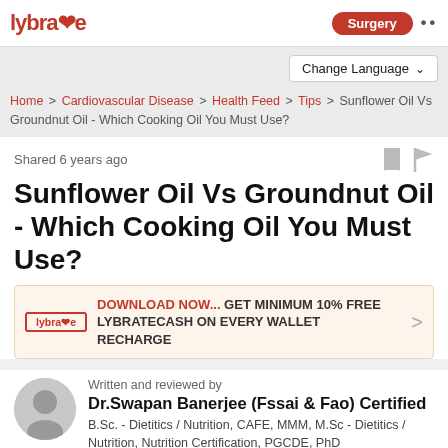lybrate | Surgery ...
Change Language
Home > Cardiovascular Disease > Health Feed > Tips > Sunflower Oil Vs Groundnut Oil - Which Cooking Oil You Must Use?
Shared 6 years ago
Sunflower Oil Vs Groundnut Oil - Which Cooking Oil You Must Use?
DOWNLOAD NOW... GET MINIMUM 10% FREE LYBRATECASH ON EVERY WALLET RECHARGE
Written and reviewed by
Dr.Swapan Banerjee (Fssai & Fao) Certified
B.Sc. - Dietitics / Nutrition, CAFE, MMM, M.Sc - Dietitics / Nutrition, Nutrition Certification, PGCDE, PhD
Dietitian/Nutritionist, Kolkata • 27years experience